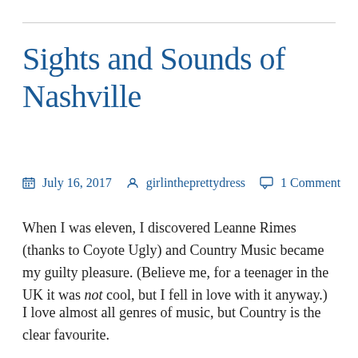Sights and Sounds of Nashville
July 16, 2017   girlintheprettydress   1 Comment
When I was eleven, I discovered Leanne Rimes (thanks to Coyote Ugly) and Country Music became my guilty pleasure. (Believe me, for a teenager in the UK it was not cool, but I fell in love with it anyway.)
I love almost all genres of music, but Country is the clear favourite.
There isn't much of a country music scene in the UK, so